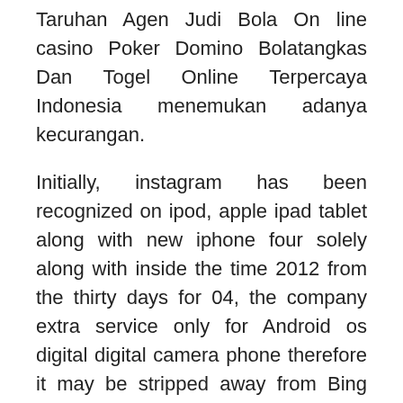Taruhan Agen Judi Bola On line casino Poker Domino Bolatangkas Dan Togel Online Terpercaya Indonesia menemukan adanya kecurangan.
Initially, instagram has been recognized on ipod, apple ipad tablet along with new iphone four solely along with inside the time 2012 from the thirty days for 04, the company extra service only for Android os digital digital camera phone therefore it may be stripped away from Bing and google have enjoyable not to point out i-tunes Software program establishments.
5. Jangan lupa untuk memasukkan kode referral